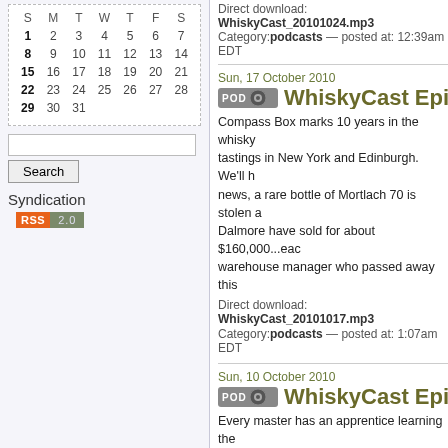| S | M | T | W | T | F | S |
| --- | --- | --- | --- | --- | --- | --- |
| 1 | 2 | 3 | 4 | 5 | 6 | 7 |
| 8 | 9 | 10 | 11 | 12 | 13 | 14 |
| 15 | 16 | 17 | 18 | 19 | 20 | 21 |
| 22 | 23 | 24 | 25 | 26 | 27 | 28 |
| 29 | 30 | 31 |  |  |  |  |
Search
Syndication
[Figure (logo): RSS 2.0 badge with orange RSS label and grey 2.0]
Direct download: WhiskyCast_20101024.mp3
Category: podcasts — posted at: 12:39am EDT
Sun, 17 October 2010
WhiskyCast Episod...
Compass Box marks 10 years in the whisky tastings in New York and Edinburgh. We'll h... news, a rare bottle of Mortlach 70 is stolen a... Dalmore have sold for about $160,000...eac... warehouse manager who passed away this...
Direct download: WhiskyCast_20101017.mp3
Category: podcasts — posted at: 1:07am EDT
Sun, 10 October 2010
WhiskyCast Episod...
Every master has an apprentice learning the... Brian Kinsman served as David Stewart's pr... Master Blender for Grant's and Glenfiddich b... we'll hear from both men in this episode. In t... bottles of George Washington's Rye go on...